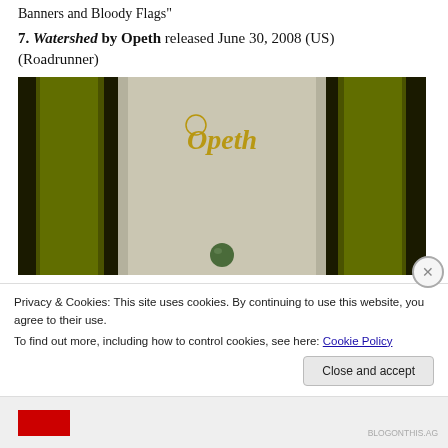Banners and Bloody Flags"
7. Watershed by Opeth released June 30, 2008 (US) (Roadrunner)
[Figure (photo): Album cover for Watershed by Opeth — dark image with olive/yellow-green curtains or columns flanking a light center, with the word 'Opeth' in ornate gold lettering at the top center and a green sphere at the bottom center.]
Privacy & Cookies: This site uses cookies. By continuing to use this website, you agree to their use.
To find out more, including how to control cookies, see here: Cookie Policy
Close and accept